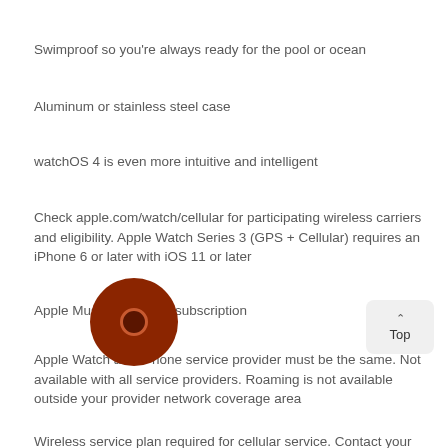Swimproof so you're always ready for the pool or ocean
Aluminum or stainless steel case
watchOS 4 is even more intuitive and intelligent
Check apple.com/watch/cellular for participating wireless carriers and eligibility. Apple Watch Series 3 (GPS + Cellular) requires an iPhone 6 or later with iOS 11 or later
Apple Music requires a subscription
Apple Watch and iPhone service provider must be the same. Not available with all service providers. Roaming is not available outside your provider network coverage area
Wireless service plan required for cellular service. Contact your service provider for more details
Compared with the previous generation